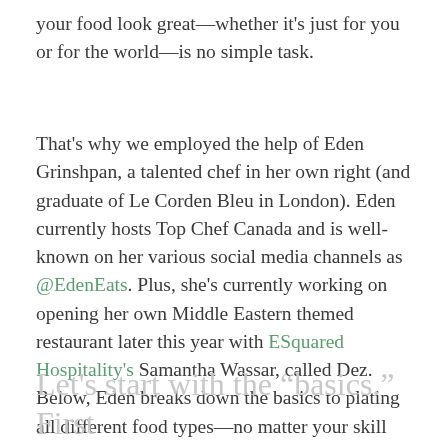your food look great—whether it's just for you or for the world—is no simple task.
That's why we employed the help of Eden Grinshpan, a talented chef in her own right (and graduate of Le Corden Bleu in London). Eden currently hosts Top Chef Canada and is well-known on her various social media channels as @EdenEats. Plus, she's currently working on opening her own Middle Eastern themed restaurant later this year with ESquared Hospitality's Samantha Wassar, called Dez. Below, Eden breaks down the basics to plating all different food types—no matter your skill level.
Let's start with the "basics." First